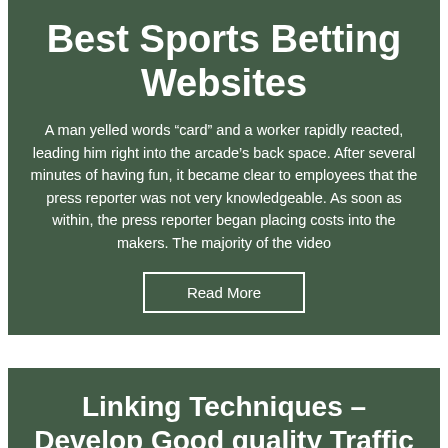Best Sports Betting Websites
A man yelled words “card” and a worker rapidly reacted, leading him right into the arcade’s back space. After several minutes of having fun, it became clear to employees that the press reporter was not very knowledgeable. As soon as within, the press reporter began placing costs into the makers. The majority of the video
Read More
Linking Techniques – Develop Good quality Traffic